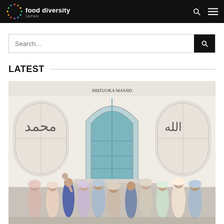food diversity Japan
Search...
LATEST
[Figure (photo): Group of people posing in front of Shizuoka Masjid (mosque), a white building with blue arched door, Islamic geometric lattice windows, and Arabic calligraphy inscriptions on the facade. The group includes men and women, some wearing hijabs, smiling and waving at the camera.]